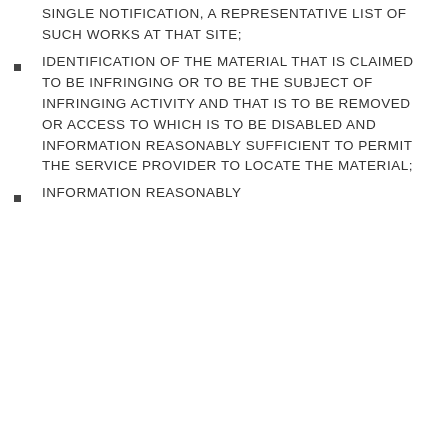SINGLE NOTIFICATION, A REPRESENTATIVE LIST OF SUCH WORKS AT THAT SITE;
IDENTIFICATION OF THE MATERIAL THAT IS CLAIMED TO BE INFRINGING OR TO BE THE SUBJECT OF INFRINGING ACTIVITY AND THAT IS TO BE REMOVED OR ACCESS TO WHICH IS TO BE DISABLED AND INFORMATION REASONABLY SUFFICIENT TO PERMIT THE SERVICE PROVIDER TO LOCATE THE MATERIAL;
INFORMATION REASONABLY